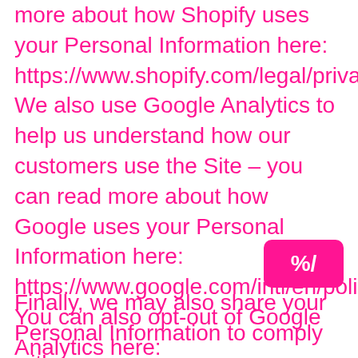more about how Shopify uses your Personal Information here: https://www.shopify.com/legal/privacy. We also use Google Analytics to help us understand how our customers use the Site – you can read more about how Google uses your Personal Information here: https://www.google.com/intl/en/policies/pr You can also opt-out of Google Analytics here: https://tools.google.com/dlpage/gaoptout.
[Figure (other): Pink rounded rectangle badge with a percent sign (%/) in white]
Finally, we may also share your Personal Information to comply with